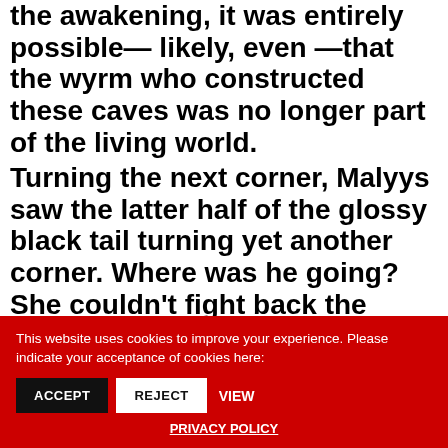the awakening, it was entirely possible— likely, even —that the wyrm who constructed these caves was no longer part of the living world. Turning the next corner, Malyys saw the latter half of the glossy black tail turning yet another corner. Where was he going? She couldn't fight back the feeling that he was intentionally leading her on a wild drake chase.
This website uses cookies to improve your experience. Please indicate your acceptance of cookies here: ACCEPT REJECT VIEW PRIVACY POLICY